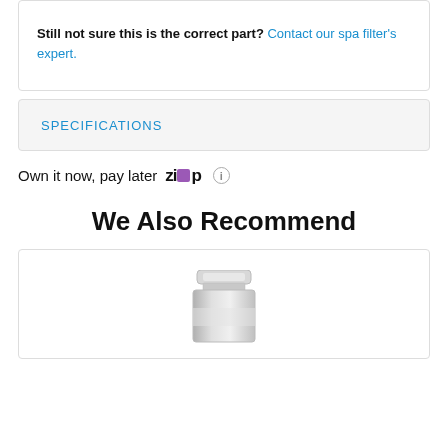Still not sure this is the correct part? Contact our spa filter's expert.
SPECIFICATIONS
Own it now, pay later  ZIP  ⓘ
We Also Recommend
[Figure (photo): Product image showing a spa filter canister, partially visible at the bottom of the page]